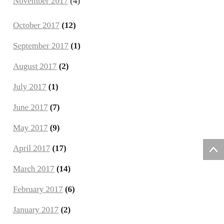November 2017 (4)
October 2017 (12)
September 2017 (1)
August 2017 (2)
July 2017 (1)
June 2017 (7)
May 2017 (9)
April 2017 (17)
March 2017 (14)
February 2017 (6)
January 2017 (2)